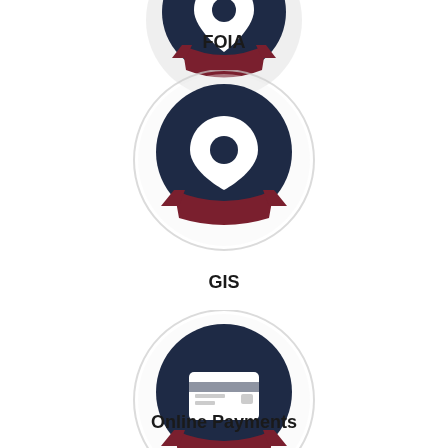[Figure (infographic): Circular badge icon with dark navy background and white location pin/map marker icon, with dark red ribbon banner across bottom. Labeled FOIA at top (partially visible).]
FOIA
[Figure (infographic): Circular badge icon with light gray outer ring, dark navy inner circle, white location pin/map marker icon, with dark red ribbon banner across bottom.]
GIS
[Figure (infographic): Circular badge icon with light gray outer ring, dark navy inner circle, white credit card icon, with dark red ribbon banner across bottom.]
Online Payments